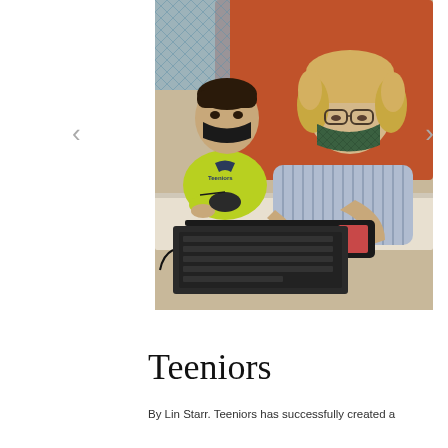[Figure (photo): Two people wearing face masks sit at a table. A young man in a yellow Teeniors shirt sits on the left watching, while a woman with curly blonde hair and glasses looks down at a smartphone she is holding. An open laptop and a mouse are on the table in front of them. They are seated on an orange sofa/booth in what appears to be a modern office or co-working space.]
Teeniors
By Lin Starr. Teeniors has successfully created a...